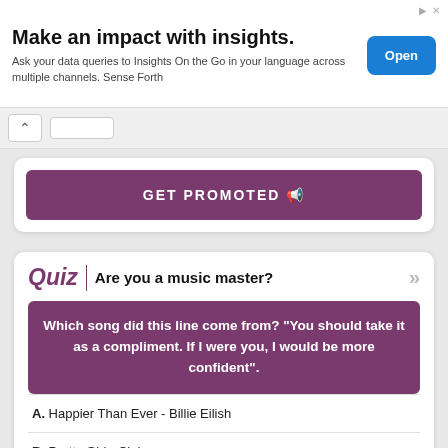[Figure (screenshot): Advertisement banner: 'Make an impact with insights.' with subtitle and 'Open' button]
Make an impact with insights.
Ask your data queries to Insights On the Go in your language across multiple channels. Sense Forth
GET PROMOTED 📣
Quiz | Are you a music master?
Which song did this line come from? "You should take it as a compliment. If I were you, I would be more confident".
A. Happier Than Ever - Billie Eilish
B. Pretty Girl - Clairo